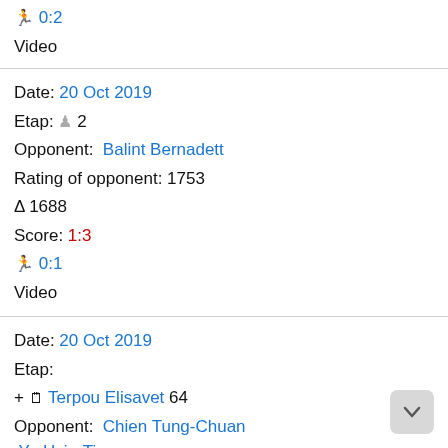🏃 0:2  Video
Date: 20 Oct 2019
Etap: ♟ 2
Opponent: Balint Bernadett
Rating of opponent: 1753
Δ 1688
Score: 1:3
🏃 0:1
Video
Date: 20 Oct 2019
Etap:
+ 📋 Terpou Elisavet 64
Opponent: Chien Tung-Chuan Yu Hsiu-Ting
Rating of opponent: 365
450
Δ --
Score: 0:3